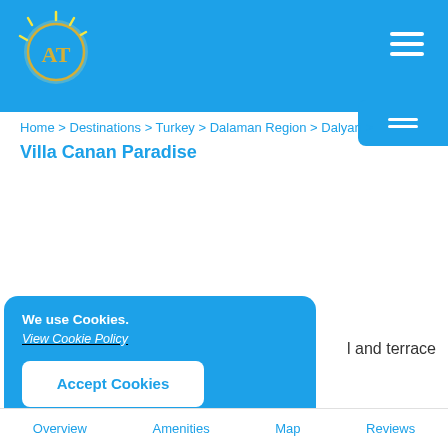AT logo header with hamburger menu
Home > Destinations > Turkey > Dalaman Region > Dalyan > Villa Canan Paradise
Villa Canan Paradise
[Figure (photo): Villa photo area - pool and terrace]
We use Cookies.
View Cookie Policy
Accept Cookies
l and terrace
Overview   Amenities   Map   Reviews